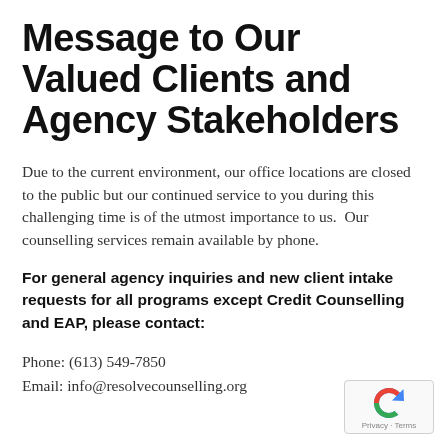Message to Our Valued Clients and Agency Stakeholders
Due to the current environment, our office locations are closed to the public but our continued service to you during this challenging time is of the utmost importance to us.  Our counselling services remain available by phone.
For general agency inquiries and new client intake requests for all programs except Credit Counselling and EAP, please contact:
Phone: (613) 549-7850
Email: info@resolvecounselling.org
[Figure (logo): reCAPTCHA badge with circular arrow logo and Privacy - Terms text]